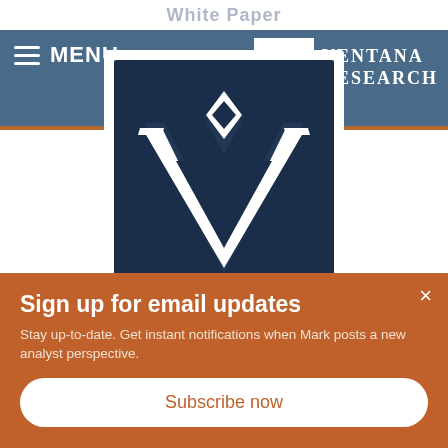White Paper
[Figure (logo): Ventana Research logo: white V-shaped checkmark with diamond on dark navy background, with VENTANA RESEARCH text in white serif font]
Sign up for email updates
Stay up-to-date. Get instant notifications when Mark posts a new analyst perspective.
Subscribe now